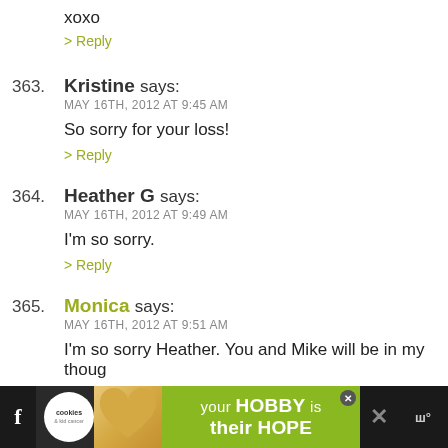xoxo
> Reply
363. Kristine says: MAY 16TH, 2012 AT 9:45 AM — So sorry for your loss!
> Reply
364. Heather G says: MAY 16TH, 2012 AT 9:49 AM — I'm so sorry.
> Reply
365. Monica says: MAY 16TH, 2012 AT 9:51 AM — I'm so sorry Heather. You and Mike will be in my thoughts...
> Reply
[Figure (other): Advertisement banner: cookies and kids cancer charity ad with text 'your HOBBY is their HOPE']